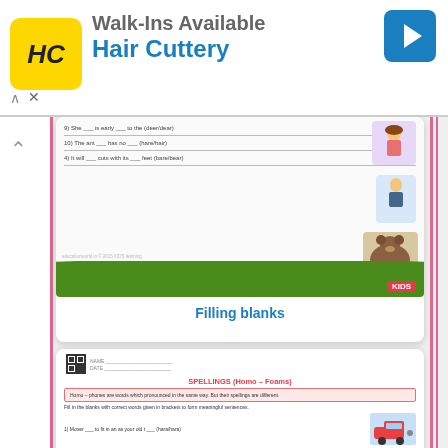[Figure (screenshot): Hair Cuttery advertisement banner with logo, brand name, and navigation arrow icon]
[Figure (screenshot): Educational worksheet card showing 'Filling blanks' exercise with images of a girl, man, and bear]
Filling blanks
[Figure (screenshot): Educational worksheet card showing 'Spelling (Homo-Foams)' filling blanks exercise with images of a car, airplane, museum, and dotted pattern]
Filling blanks